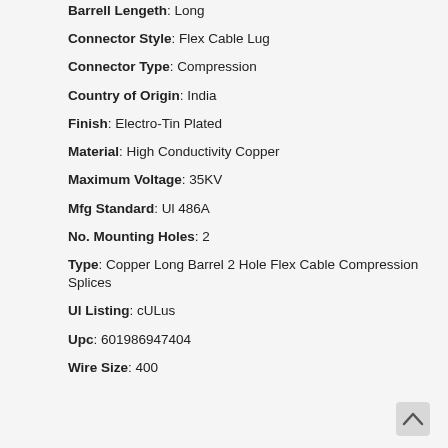Barrell Lengeth: Long
Connector Style: Flex Cable Lug
Connector Type: Compression
Country of Origin: India
Finish: Electro-Tin Plated
Material: High Conductivity Copper
Maximum Voltage: 35KV
Mfg Standard: Ul 486A
No. Mounting Holes: 2
Type: Copper Long Barrel 2 Hole Flex Cable Compression Splices
Ul Listing: cULus
Upc: 601986947404
Wire Size: 400